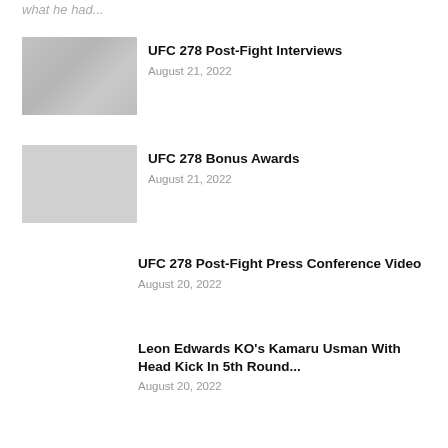what he had...
UFC 278 Post-Fight Interviews
August 21, 2022
[Figure (photo): Thumbnail image for UFC 278 Post-Fight Interviews article]
UFC 278 Bonus Awards
August 21, 2022
[Figure (photo): Thumbnail image for UFC 278 Bonus Awards article]
UFC 278 Post-Fight Press Conference Video
August 20, 2022
Leon Edwards KO's Kamaru Usman With Head Kick In 5th Round...
August 20, 2022